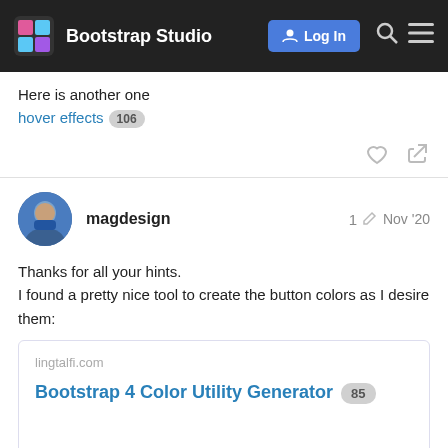Bootstrap Studio
Here is another one
hover effects 106
magdesign 1 Nov '20
Thanks for all your hints.
I found a pretty nice tool to create the button colors as I desire them:
[Figure (screenshot): Link card showing lingtalfi.com with title 'Bootstrap 4 Color Utility Generator' and badge '85']
2 / 9